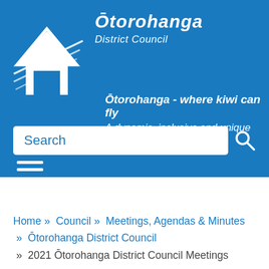[Figure (logo): Ōtorohanga District Council logo — white house/roof outline with stylized lines, on blue background]
Ōtorohanga District Council
Ōtorohanga - where kiwi can fly
A dynamic, inclusive and unique district
[Figure (other): Search bar with placeholder text 'Search' and magnifying glass icon]
[Figure (other): Hamburger menu icon (three horizontal white lines)]
Home » Council » Meetings, Agendas & Minutes » Ōtorohanga District Council » 2021 Ōtorohanga District Council Meetings